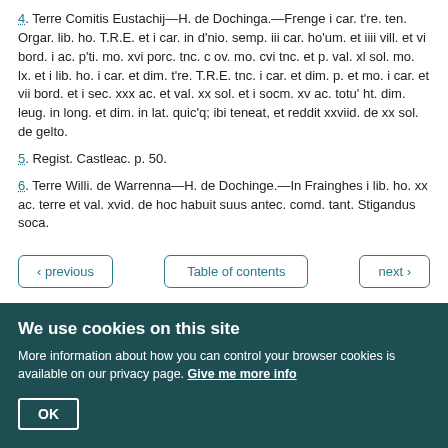4. Terre Comitis Eustachij—H. de Dochinga.—Frenge i car. t're. ten. Orgar. lib. ho. T.R.E. et i car. in d'nio. semp. iii car. ho'um. et iiii vill. et vi bord. i ac. p'ti. mo. xvi porc. tnc. c ov. mo. cvi tnc. et p. val. xl sol. mo. lx. et i lib. ho. i car. et dim. t're. T.R.E. tnc. i car. et dim. p. et mo. i car. et vii bord. et i sec. xxx ac. et val. xx sol. et i socm. xv ac. totu' ht. dim. leug. in long. et dim. in lat. quic'q; ibi teneat, et reddit xxviid. de xx sol. de gelto.
5. Regist. Castleac. p. 50.
6. Terre Willi. de Warrenna—H. de Dochinge.—In Frainghes i lib. ho. xx ac. terre et val. xvid. de hoc habuit suus antec. comd. tant. Stigandus soca.
Source type
We use cookies on this site
More information about how you can control your browser cookies is available on our privacy page. Give me more info